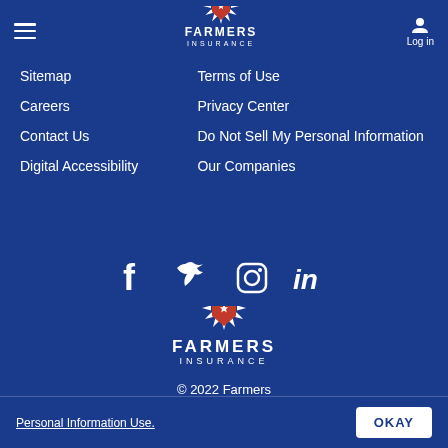[Figure (logo): Farmers Insurance logo in header - white shield with star burst, FARMERS text, INSURANCE below]
Log in
Sitemap
Terms of Use
Careers
Privacy Center
Contact Us
Do Not Sell My Personal Information
Digital Accessibility
Our Companies
[Figure (infographic): Social media icons row: Facebook, Twitter, Instagram, LinkedIn]
[Figure (logo): Farmers Insurance logo centered - white shield with star burst, FARMERS text, INSURANCE below]
© 2022 Farmers
Personal Information Use.
OKAY